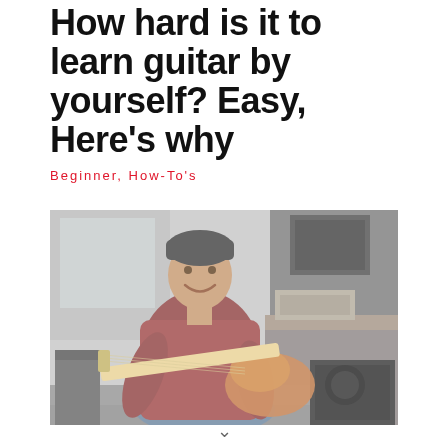How hard is it to learn guitar by yourself? Easy, Here's why
Beginner, How-To's
[Figure (photo): A young man sitting in a recording studio holding an electric guitar, smiling at the camera. He wears a dark beanie hat and a red/maroon shirt. Behind him is recording equipment and a dark amplifier. The photo has a faded, low-saturation quality.]